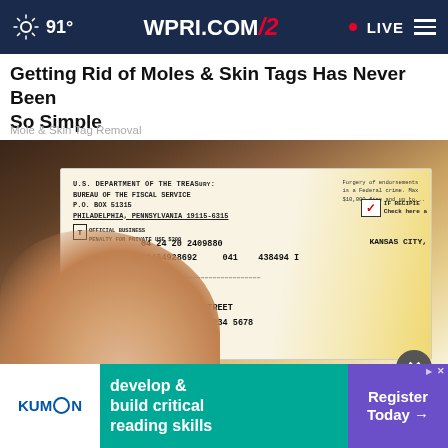91° WPRI.COM/2 • LIVE
Getting Rid of Moles & Skin Tags Has Never Been So Simple
Mole & Skin Tag Removal
[Figure (photo): A hand holding a U.S. Department of the Treasury, Bureau of the Fiscal Service government check. The check shows address P.O. BOX 51315, PHILADELPHIA, PENNSYLVANIA 19115-6315, numbers 04 24 20 2409880, KANSAS CITY, 08464928692, 041, 438494, recipient JOHN OE, 1234 MAIN STREET, ANYTOWN USA 81234 5678.]
Peo... This Month
[Figure (other): Kumon advertisement banner: develop & build critical reading skills. Register Today →]